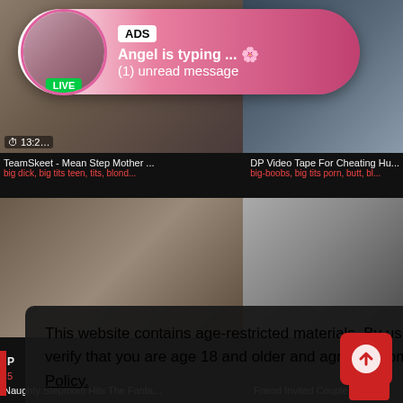[Figure (screenshot): Adult website screenshot showing video thumbnails with an ad overlay bubble at top showing 'ADS Angel is typing... (1) unread message' with a LIVE badge, plus a cookie consent overlay at bottom]
ADS
Angel is typing ... 🌸
(1) unread message
LIVE
TeamSkeet - Mean Step Mother ...
big dick, big tits teen, tits, blond...
DP Video Tape For Cheating Hu...
big-boobs, big tits porn, butt, bl...
This website contains age-restricted materials. By using this site, you hereby verify that you are age 18 and older and agree to comply with all the Privacy Policy.
We use cookies to provide you the best possible experience on our website and to monitor website traffic. Cookies Policy.